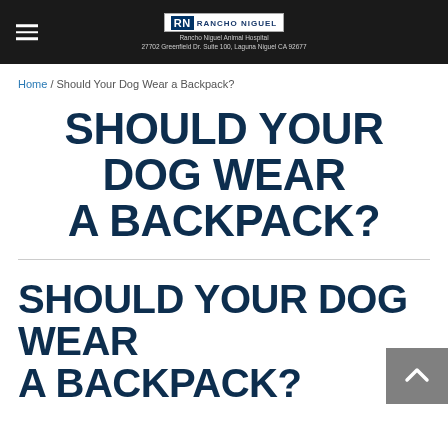Rancho Niguel Animal Hospital
Home / Should Your Dog Wear a Backpack?
SHOULD YOUR DOG WEAR A BACKPACK?
SHOULD YOUR DOG WEAR A BACKPACK?